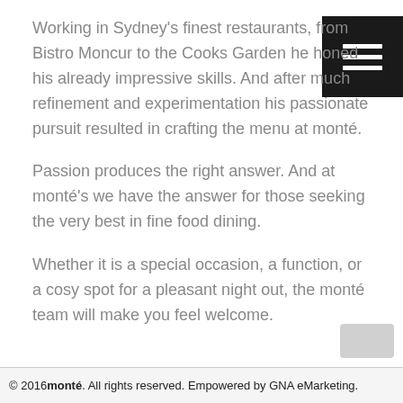Working in Sydney’s finest restaurants, from Bistro Moncur to the Cooks Garden he honed his already impressive skills. And after much refinement and experimentation his passionate pursuit resulted in crafting the menu at monté.
Passion produces the right answer. And at monté’s we have the answer for those seeking the very best in fine food dining.
Whether it is a special occasion, a function, or a cosy spot for a pleasant night out, the monté team will make you feel welcome.
© 2016 monté. All rights reserved. Empowered by GNA eMarketing.